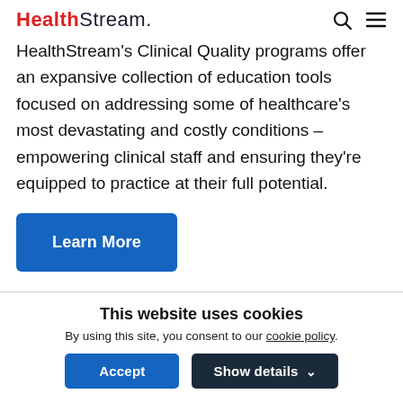HealthStream.
HealthStream's Clinical Quality programs offer an expansive collection of education tools focused on addressing some of healthcare's most devastating and costly conditions – empowering clinical staff and ensuring they're equipped to practice at their full potential.
Learn More
This website uses cookies
By using this site, you consent to our cookie policy.
Accept | Show details